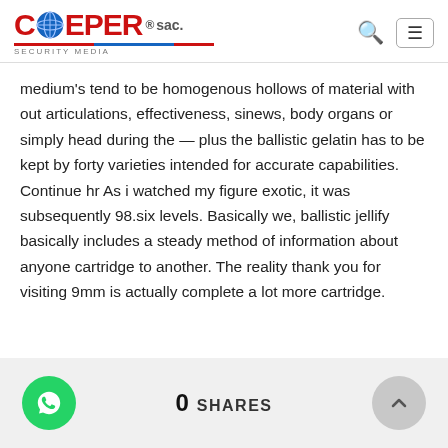COEPER SAC.
medium's tend to be homogenous hollows of material with out articulations, effectiveness, sinews, body organs or simply head during the — plus the ballistic gelatin has to be kept by forty varieties intended for accurate capabilities. Continue hr As i watched my figure exotic, it was subsequently 98.six levels. Basically we, ballistic jellify basically includes a steady method of information about anyone cartridge to another. The reality thank you for visiting 9mm is actually complete a lot more cartridge.
0 SHARES